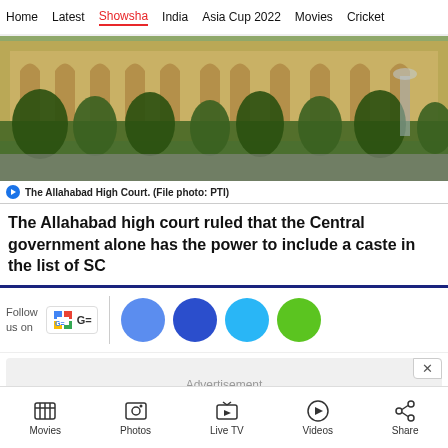Home  Latest  Showsha  India  Asia Cup 2022  Movies  Cricket
[Figure (photo): The Allahabad High Court building with arches and trees in foreground]
The Allahabad High Court. (File photo: PTI)
The Allahabad high court ruled that the Central government alone has the power to include a caste in the list of SC
Follow us on
Advertisement
Movies  Photos  Live TV  Videos  Share